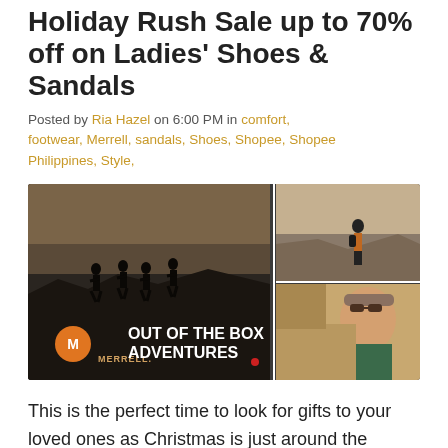Holiday Rush Sale up to 70% off on Ladies' Shoes & Sandals
Posted by Ria Hazel on 6:00 PM in comfort, footwear, Merrell, sandals, Shoes, Shopee, Shopee Philippines, Style,
[Figure (photo): Merrell brand collage: left panel shows silhouettes of hikers on a ridge at dusk with Merrell logo and 'OUT OF THE BOX ADVENTURES' text; top-right shows a hiker standing on rocky summit; bottom-right shows a female hiker outdoors.]
This is the perfect time to look for gifts to your loved ones as Christmas is just around the corner.